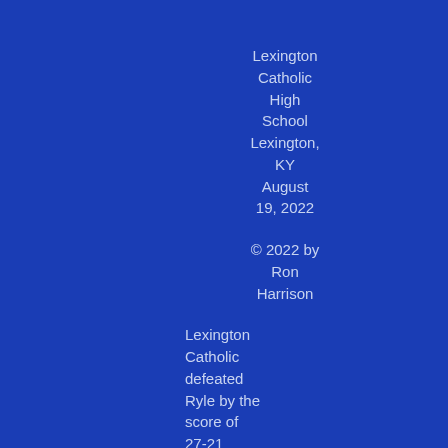Lexington Catholic High School Lexington, KY August 19, 2022
© 2022 by Ron Harrison
Lexington Catholic defeated Ryle by the score of 27-21 despite being out gained in total yardage 429-281. Lexington Catholic